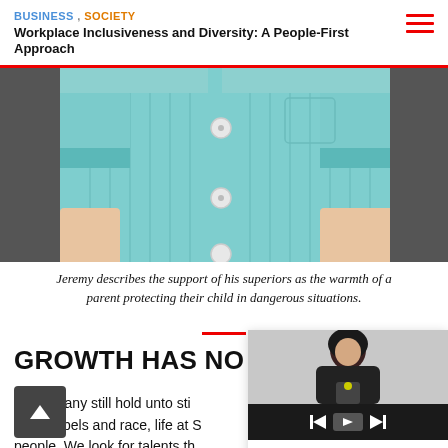BUSINESS , SOCIETY
Workplace Inclusiveness and Diversity: A People-First Approach
[Figure (photo): Close-up photo of a person wearing a teal/light blue short-sleeve button-up shirt]
Jeremy describes the support of his superiors as the warmth of a parent protecting their child in dangerous situations.
GROWTH HAS NO EX
While many still hold unto sti of job labels and race, life at S people. We look for talents th organisation needs, rather than who and what a person's background is. This leaves ample space to expand on
[Figure (screenshot): Video card overlay showing a woman in business attire with play button controls, labeled 'From The Top: Gender Equality']
From The Top: Gender Equality